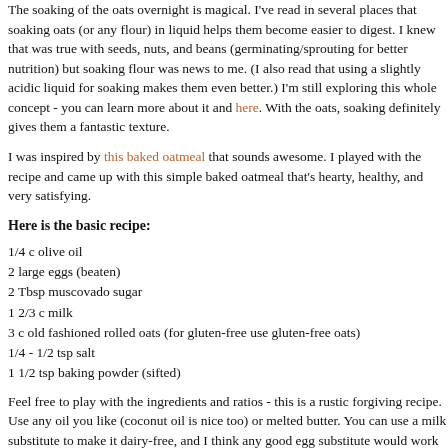The soaking of the oats overnight is magical. I've read in several places that soaking oats (or any flour) in liquid helps them become easier to digest. I knew that was true with seeds, nuts, and beans (germinating/sprouting for better nutrition) but soaking flour was news to me. (I also read that using a slightly acidic liquid for soaking makes them even better.) I'm still exploring this whole concept - you can learn more about it here and here. With the oats, soaking definitely gives them a fantastic texture.
I was inspired by this baked oatmeal that sounds awesome. I played with the recipe and came up with this simple baked oatmeal that's hearty, healthy, and very satisfying.
Here is the basic recipe:
1/4 c olive oil
2 large eggs (beaten)
2 Tbsp muscovado sugar
1 2/3 c milk
3 c old fashioned rolled oats (for gluten-free use gluten-free oats)
1/4 - 1/2 tsp salt
1 1/2 tsp baking powder (sifted)
Feel free to play with the ingredients and ratios - this is a rustic forgiving recipe. Use any oil you like (coconut oil is nice too) or melted butter. You can use a milk substitute to make it dairy-free, and I think any good egg substitute would work here too. Sometimes I substitute half the milk for unsweetened apple juice - or use a combination of yogurt and water. (You can also use 2 Tbsp less milk if you like it more flaky.) Use whatever sweetener you like, more if you like things sweet, or no sweetener at all. I like the bit of flavor and browning the muscovado sugar provides. Sometimes I make a half batch in a loaf pan. Since it stores and re-heats so well, I often make a big batch (this is the big batch), keep the leftovers covered in the pan, then re-heat pieces on a frying pan with butter or coconut oil. (My sweetie loves it this way best!)